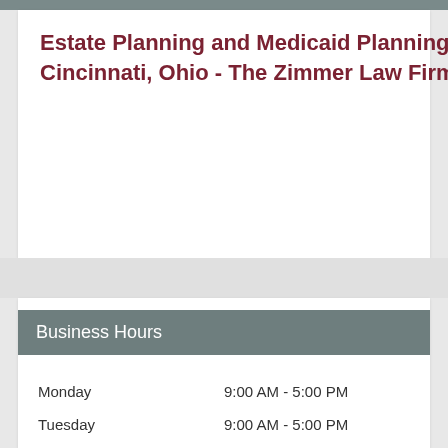Estate Planning and Medicaid Planning Attorneys in Cincinnati, Ohio - The Zimmer Law Firm
Business Hours
| Day | Hours |
| --- | --- |
| Monday | 9:00 AM - 5:00 PM |
| Tuesday | 9:00 AM - 5:00 PM |
| Wednesday | 9:00 AM - 5:00 PM |